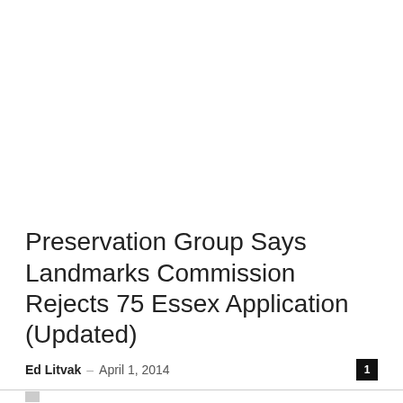Preservation Group Says Landmarks Commission Rejects 75 Essex Application (Updated)
Ed Litvak · April 1, 2014